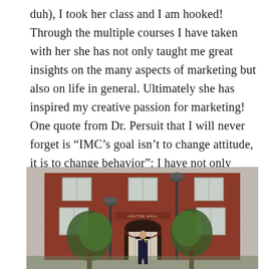duh), I took her class and I am hooked! Through the multiple courses I have taken with her she has not only taught me great insights on the many aspects of marketing but also on life in general. Ultimately she has inspired my creative passion for marketing! One quote from Dr. Persuit that I will never forget is “IMC’s goal isn’t to change attitude, it is to change behavior”; I have not only incorporated this within my marketing classes but throughout my life.
[Figure (photo): A person in graduation cap and gown standing in front of a red brick university building with white-framed windows, an arched doorway, trees, and a lamp post.]